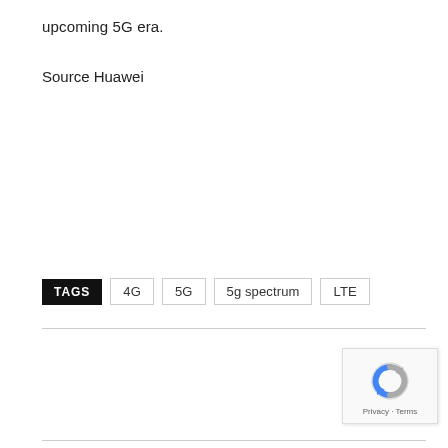upcoming 5G era.
Source Huawei
TAGS  4G  5G  5g spectrum  LTE
[Figure (logo): reCAPTCHA badge with circular arrow logo icon and Privacy · Terms text]